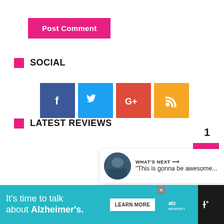Post Comment
SOCIAL
[Figure (infographic): Social media icon buttons: Facebook (blue), Twitter (light blue), Google+ (red), RSS (orange)]
LATEST REVIEWS
[Figure (other): Like/heart button (blue circle with heart icon) with count '1' below, and a pink scroll-to-top arrow button]
[Figure (other): What's Next panel with thumbnail image and text: WHAT'S NEXT → "This is gonna be awesome..."]
[Figure (other): Advertisement banner: It's time to talk about Alzheimer's. LEARN MORE button. Alzheimer's Association logo. Close button.]